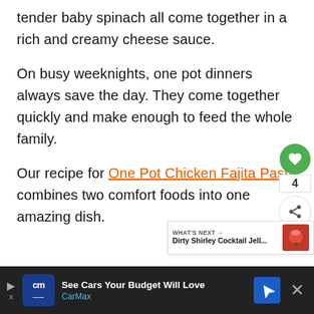tender baby spinach all come together in a rich and creamy cheese sauce.
On busy weeknights, one pot dinners always save the day. They come together quickly and make enough to feed the whole family.
Our recipe for One Pot Chicken Fajita Pasta combines two comfort foods into one amazing dish.
[Figure (screenshot): Green heart/like button with count 4 and share button on right side]
[Figure (infographic): What's Next promo: Dirty Shirley Cocktail Jell... with food photo]
[Figure (screenshot): CarMax advertisement bar: See Cars Your Budget Will Love, CarMax logo, navigation icon, and close X button]